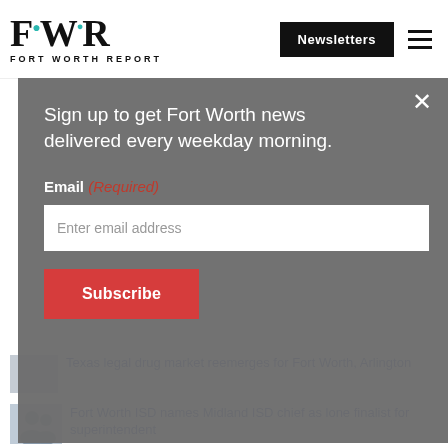FWR FORT WORTH REPORT
Newsletters
Sign up to get Fort Worth news delivered every weekday morning.
Email (Required)
Enter email address
Subscribe
Texas Legal drug market reemerges for Fort Worth, Arlington
Fort Worth ISD names Midland ISD chief as lone finalist for superintendent